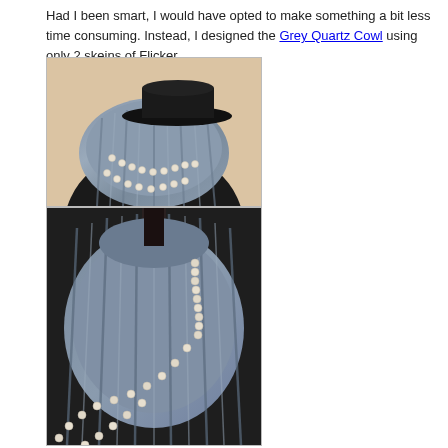Had I been smart, I would have opted to make something a bit less time consuming. Instead, I designed the Grey Quartz Cowl using only 2 skeins of Flicker.
[Figure (photo): Photo of a grey ribbed knit cowl with pearl necklace draped over it, displayed on a dark mannequin bust wearing a black hat, seen from front-side angle.]
[Figure (photo): Close-up photo of the same grey ribbed knit cowl with pearl necklace, displayed on a dark mannequin bust, showing more detail of the ribbed texture and pearls from a closer angle.]